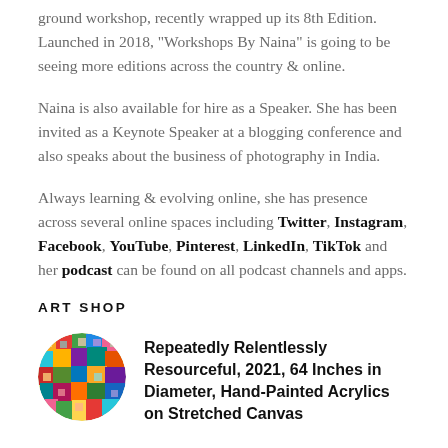ground workshop, recently wrapped up its 8th Edition. Launched in 2018, "Workshops By Naina" is going to be seeing more editions across the country & online.
Naina is also available for hire as a Speaker. She has been invited as a Keynote Speaker at a blogging conference and also speaks about the business of photography in India.
Always learning & evolving online, she has presence across several online spaces including Twitter, Instagram, Facebook, YouTube, Pinterest, LinkedIn, TikTok and her podcast can be found on all podcast channels and apps.
ART SHOP
[Figure (photo): Circular thumbnail of colorful abstract painting with bright multicolored brushstrokes]
Repeatedly Relentlessly Resourceful, 2021, 64 Inches in Diameter, Hand-Painted Acrylics on Stretched Canvas